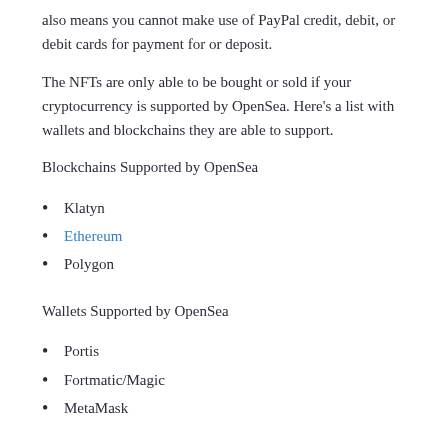also means you cannot make use of PayPal credit, debit, or debit cards for payment for or deposit.
The NFTs are only able to be bought or sold if your cryptocurrency is supported by OpenSea. Here’s a list with wallets and blockchains they are able to support.
Blockchains Supported by OpenSea
Klatyn
Ethereum
Polygon
Wallets Supported by OpenSea
Portis
Fortmatic/Magic
MetaMask